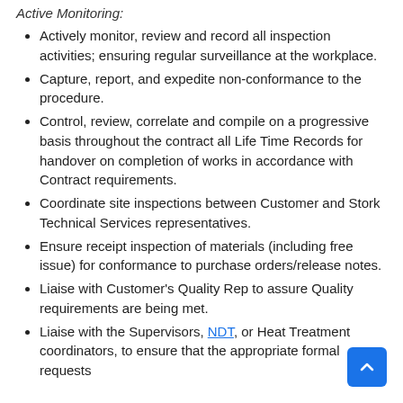Active Monitoring:
Actively monitor, review and record all inspection activities; ensuring regular surveillance at the workplace.
Capture, report, and expedite non-conformance to the procedure.
Control, review, correlate and compile on a progressive basis throughout the contract all Life Time Records for handover on completion of works in accordance with Contract requirements.
Coordinate site inspections between Customer and Stork Technical Services representatives.
Ensure receipt inspection of materials (including free issue) for conformance to purchase orders/release notes.
Liaise with Customer's Quality Rep to assure Quality requirements are being met.
Liaise with the Supervisors, NDT, or Heat Treatment coordinators, to ensure that the appropriate formal requests